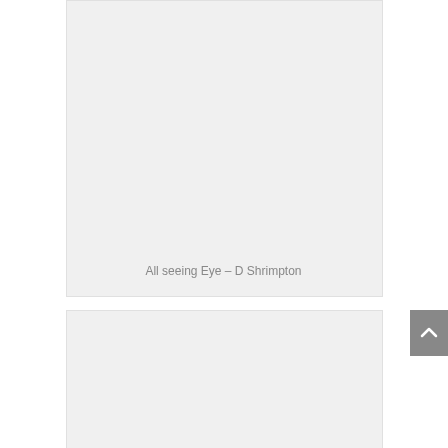[Figure (photo): Large light gray placeholder image box, top portion of page]
All seeing Eye – D Shrimpton
[Figure (photo): Second light gray placeholder image box, bottom portion of page]